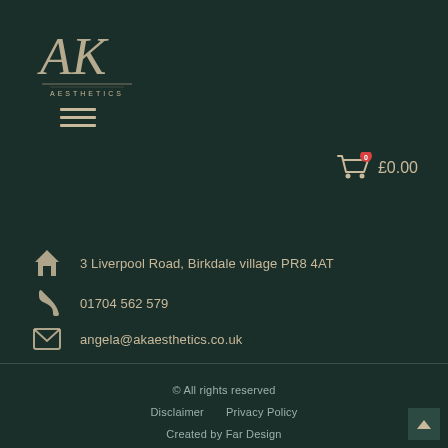[Figure (logo): AK Aesthetics cursive logo in cream/gold color on dark green background]
[Figure (other): Hamburger menu icon (three horizontal lines)]
[Figure (other): Shopping cart icon with red badge showing 0, followed by £0.00]
3 Liverpool Road, Birkdale village PR8 4AT
01704 562 579
angela@akaesthetics.co.uk
© All rights reserved
Disclaimer    Privacy Policy
Created by Far Design